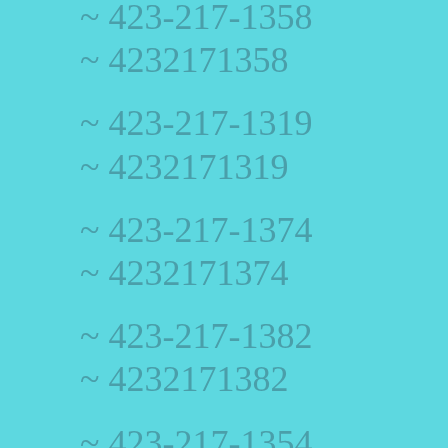~ 423-217-1358
~ 4232171358
~ 423-217-1319
~ 4232171319
~ 423-217-1374
~ 4232171374
~ 423-217-1382
~ 4232171382
~ 423-217-1354
~ 4232171354